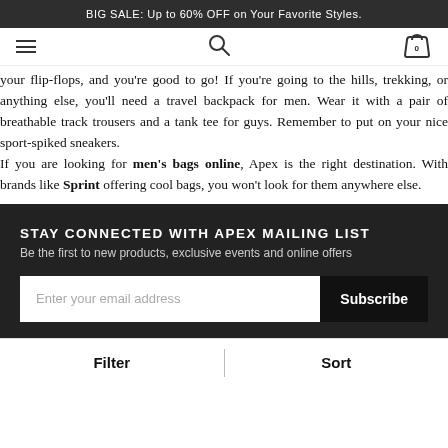BIG SALE: Up to 60% OFF on Your Favorite Styles.
your flip-flops, and you're good to go! If you're going to the hills, trekking, or anything else, you'll need a travel backpack for men. Wear it with a pair of breathable track trousers and a tank tee for guys. Remember to put on your nice sport-spiked sneakers. If you are looking for men's bags online, Apex is the right destination. With brands like Sprint offering cool bags, you won't look for them anywhere else.
STAY CONNECTED WITH APEX MAILING LIST
Be the first to new products, exclusive events and online offers
Enter your email address
Filter   Sort